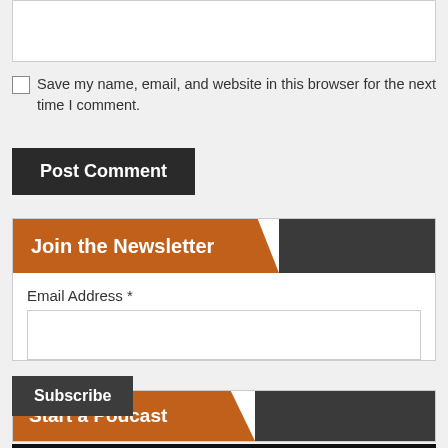[Figure (screenshot): Text input box at the top of a web comment form]
Save my name, email, and website in this browser for the next time I comment.
Post Comment
Join the Newsletter
Email Address *
[Figure (screenshot): Email address input text field]
Subscribe
Start a Podcast
[Figure (screenshot): START A PODCAST banner image with bold blue text on dark background]